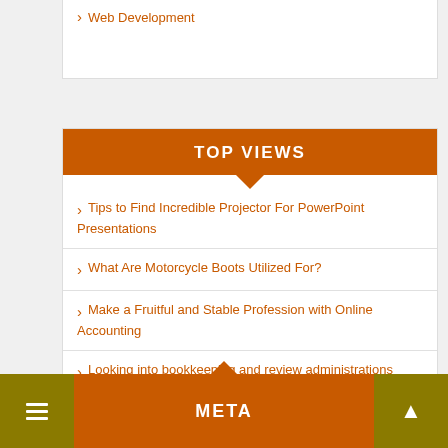Web Development
TOP VIEWS
Tips to Find Incredible Projector For PowerPoint Presentations
What Are Motorcycle Boots Utilized For?
Make a Fruitful and Stable Profession with Online Accounting
Looking into bookkeeping and review administrations
Simple Steps to follow air conditioning installation Bexley
META